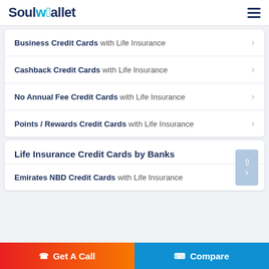SoulWallet
Business Credit Cards with Life Insurance
Cashback Credit Cards with Life Insurance
No Annual Fee Credit Cards with Life Insurance
Points / Rewards Credit Cards with Life Insurance
Life Insurance Credit Cards by Banks
Emirates NBD Credit Cards with Life Insurance